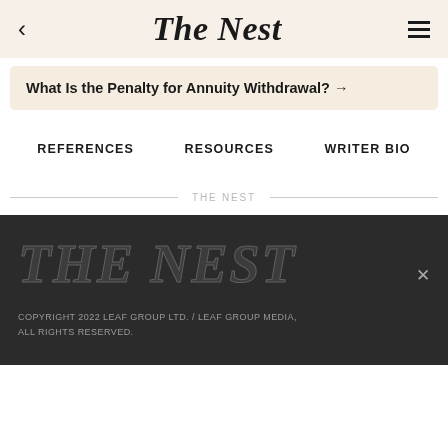The Nest
What Is the Penalty for Annuity Withdrawal? →
REFERENCES    RESOURCES    WRITER BIO
THE NEST
[Figure (logo): THE NEST logo in large italic serif font on dark background]
COPYRIGHT 2022 LEAF GROUP LTD. / LEAF GROUP MEDIA, ALL RIGHTS RESERVED.